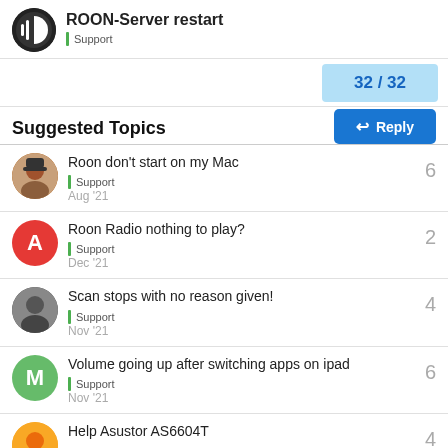ROON-Server restart
Support
32 / 32
Reply
Suggested Topics
Roon don't start on my Mac
Support
6
Aug '21
Roon Radio nothing to play?
Support
2
Dec '21
Scan stops with no reason given!
Support
4
Nov '21
Volume going up after switching apps on ipad
Support
6
Nov '21
Help Asustor AS6604T
4